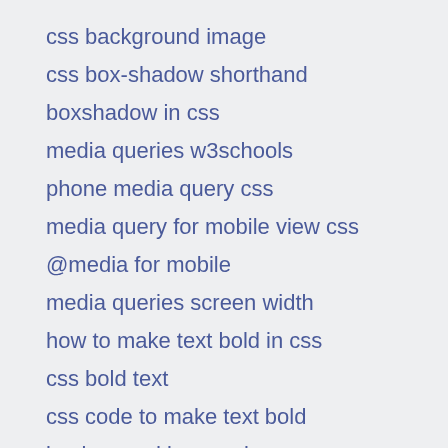css background image
css box-shadow shorthand
boxshadow in css
media queries w3schools
phone media query css
media query for mobile view css
@media for mobile
media queries screen width
how to make text bold in css
css bold text
css code to make text bold
background image size css
html background image auto resize
css set variable